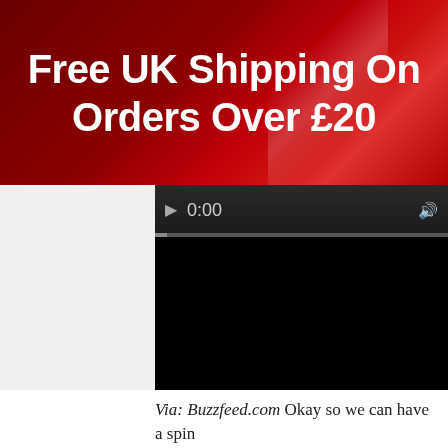Free UK Shipping On Orders Over £20
[Figure (screenshot): Video player screenshot showing a black video area with a dark control bar at the top displaying a play button, time 0:00, and a volume icon, with a progress bar below the controls.]
Via: Buzzfeed.com Okay so we can have a spin